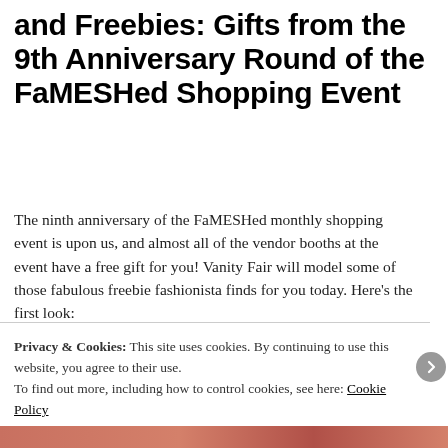and Freebies: Gifts from the 9th Anniversary Round of the FaMESHed Shopping Event
The ninth anniversary of the FaMESHed monthly shopping event is upon us, and almost all of the vendor booths at the event have a free gift for you! Vanity Fair will model some of those fabulous freebie fashionista finds for you today. Here’s the first look:
Privacy & Cookies: This site uses cookies. By continuing to use this website, you agree to their use.
To find out more, including how to control cookies, see here: Cookie Policy